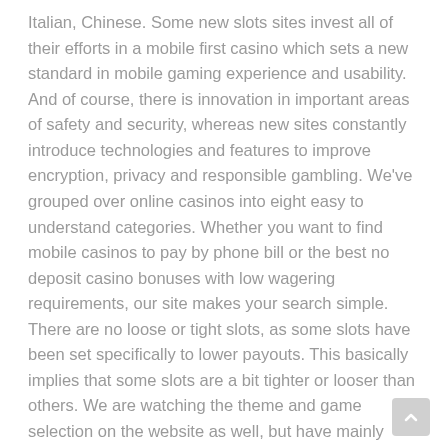Italian, Chinese. Some new slots sites invest all of their efforts in a mobile first casino which sets a new standard in mobile gaming experience and usability. And of course, there is innovation in important areas of safety and security, whereas new sites constantly introduce technologies and features to improve encryption, privacy and responsible gambling. We've grouped over online casinos into eight easy to understand categories. Whether you want to find mobile casinos to pay by phone bill or the best no deposit casino bonuses with low wagering requirements, our site makes your search simple. There are no loose or tight slots, as some slots have been set specifically to lower payouts. This basically implies that some slots are a bit tighter or looser than others. We are watching the theme and game selection on the website as well, but have mainly chosen to only focus on the casinos that are % safe and reliable for you as a new player. New online casinos have lots to offer.
* more terms & conditions apply